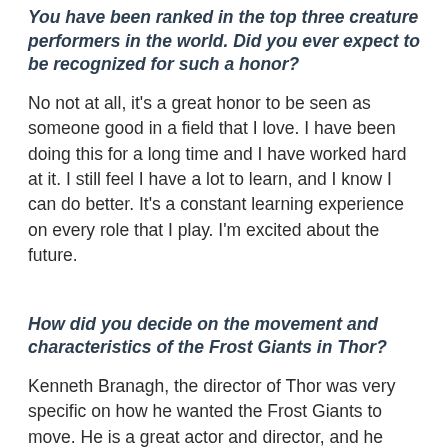You have been ranked in the top three creature performers in the world. Did you ever expect to be recognized for such a honor?
No not at all, it's a great honor to be seen as someone good in a field that I love. I have been doing this for a long time and I have worked hard at it. I still feel I have a lot to learn, and I know I can do better. It's a constant learning experience on every role that I play. I'm excited about the future.
How did you decide on the movement and characteristics of the Frost Giants in Thor?
Kenneth Branagh, the director of Thor was very specific on how he wanted the Frost Giants to move. He is a great actor and director, and he knew what he